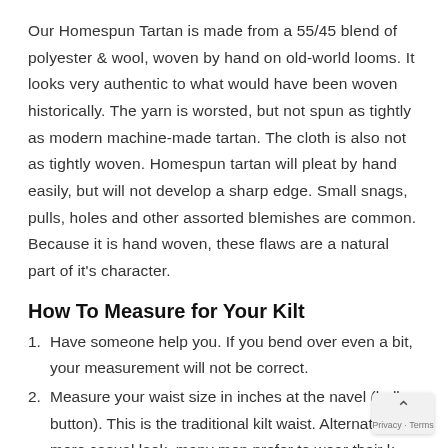Our Homespun Tartan is made from a 55/45 blend of polyester & wool, woven by hand on old-world looms. It looks very authentic to what would have been woven historically. The yarn is worsted, but not spun as tightly as modern machine-made tartan. The cloth is also not as tightly woven. Homespun tartan will pleat by hand easily, but will not develop a sharp edge. Small snags, pulls, holes and other assorted blemishes are common. Because it is hand woven, these flaws are a natural part of it's character.
How To Measure for Your Kilt
1. Have someone help you. If you bend over even a bit, your measurement will not be correct.
2. Measure your waist size in inches at the navel (belly button). This is the traditional kilt waist. Alternatively more casual look, many men prefer to wear their k the pants waist. If this is what you choose, then measure